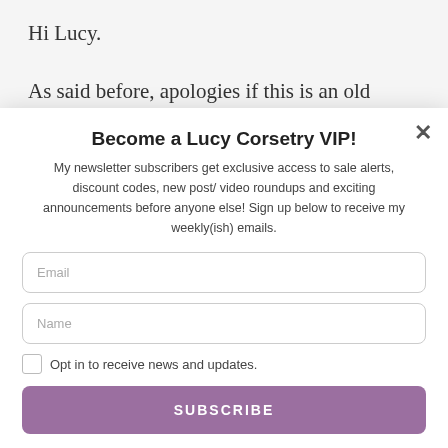Hi Lucy.
As said before, apologies if this is an old thread, but I have a question that I hope
Become a Lucy Corsetry VIP!
My newsletter subscribers get exclusive access to sale alerts, discount codes, new post/ video roundups and exciting announcements before anyone else! Sign up below to receive my weekly(ish) emails.
Email
Name
Opt in to receive news and updates.
SUBSCRIBE